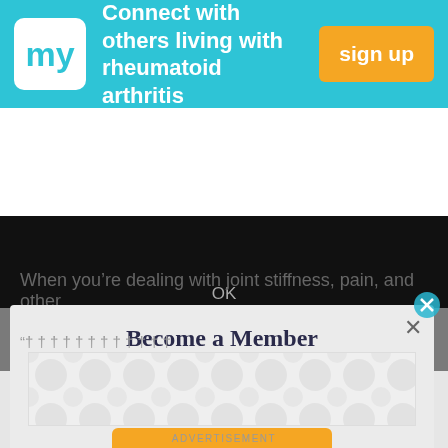[Figure (screenshot): Cyan/teal header bar with 'my' logo in white box on left, bold white text 'Connect with others living with rheumatoid arthritis', and orange 'sign up' button on right]
[Figure (screenshot): Black media/video area with 'OK' text in gray]
When you’re dealing with joint stiffness, pain, and other
[Figure (screenshot): Modal popup on gray overlay with title 'Become a Member', body text 'Connect with others who are living with rheumatoid arthritis.', and orange 'get started' button with X close button]
“† † † † † † † † † † † † † † † †
[Figure (screenshot): Advertisement banner placeholder with circular dot pattern in light gray]
ADVERTISEMENT